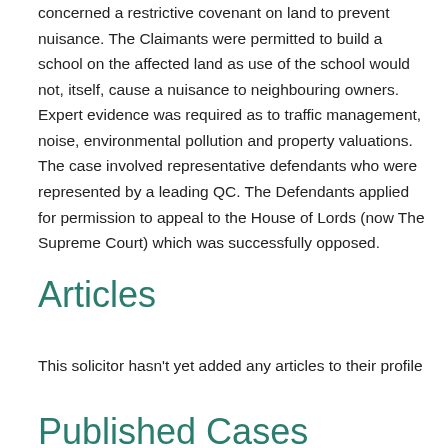concerned a restrictive covenant on land to prevent nuisance. The Claimants were permitted to build a school on the affected land as use of the school would not, itself, cause a nuisance to neighbouring owners. Expert evidence was required as to traffic management, noise, environmental pollution and property valuations. The case involved representative defendants who were represented by a leading QC. The Defendants applied for permission to appeal to the House of Lords (now The Supreme Court) which was successfully opposed.
Articles
This solicitor hasn't yet added any articles to their profile
Published Cases